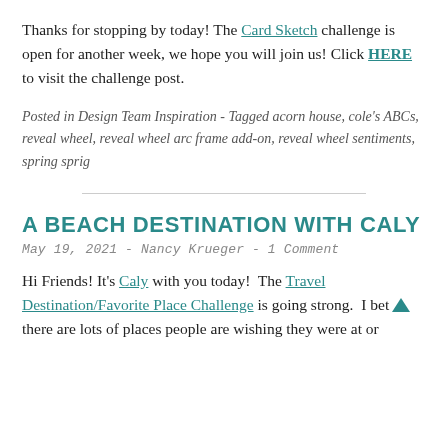Thanks for stopping by today! The Card Sketch challenge is open for another week, we hope you will join us! Click HERE to visit the challenge post.
Posted in Design Team Inspiration - Tagged acorn house, cole's ABCs, reveal wheel, reveal wheel arc frame add-on, reveal wheel sentiments, spring sprig
A BEACH DESTINATION WITH CALY
May 19, 2021 - Nancy Krueger - 1 Comment
Hi Friends! It's Caly with you today! The Travel Destination/Favorite Place Challenge is going strong. I bet there are lots of places people are wishing they were at or